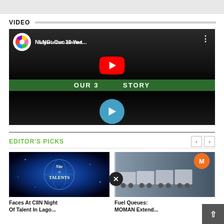[Figure (screenshot): Top gray banner area, partially cut off]
VIDEO
[Figure (screenshot): YouTube video thumbnail for 'NLNG: Our 30 Yea...' showing YouTube play button, blue circle play button, Nigeria LNG branding, green banner with 'OUR 30 STORY' text, and three-dot menu icon]
EDITOR'S PICKS
[Figure (photo): Nite of Talents glowing globe image with blue radial light effect and text]
Faces At CIIN Night Of Talent In Lago...
[Figure (photo): Fuel tanker trucks lined up with MOMAN orange logo in upper right]
Fuel Queues: MOMAN Extend...